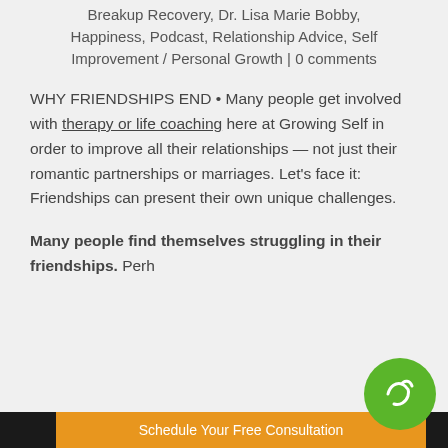Breakup Recovery, Dr. Lisa Marie Bobby, Happiness, Podcast, Relationship Advice, Self Improvement / Personal Growth | 0 comments
WHY FRIENDSHIPS END • Many people get involved with therapy or life coaching here at Growing Self in order to improve all their relationships — not just their romantic partnerships or marriages. Let's face it: Friendships can present their own unique challenges.
Many people find themselves struggling in their friendships. Perh...
Schedule Your Free Consultation